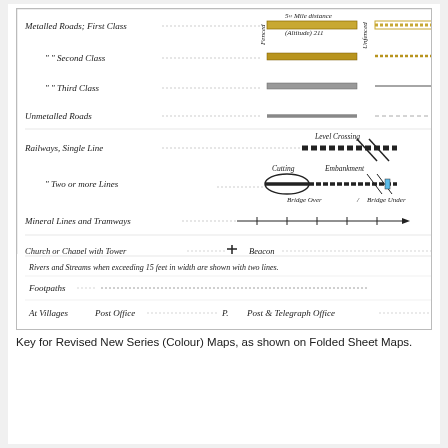[Figure (illustration): Map legend/key showing symbols for Metalled Roads (First, Second, Third Class), Unmetalled Roads, Railways (Single Line, Two or more Lines), Mineral Lines and Tramways, Church or Chapel with Tower/Spire/without, Windmill, Lighthouse, Lightship, Beacon, Letter Box, Contours, Boundaries (County, Parish), Rivers and Streams note, Footpaths, Post Office and Post & Telegraph Office symbols.]
Key for Revised New Series (Colour) Maps, as shown on Folded Sheet Maps.